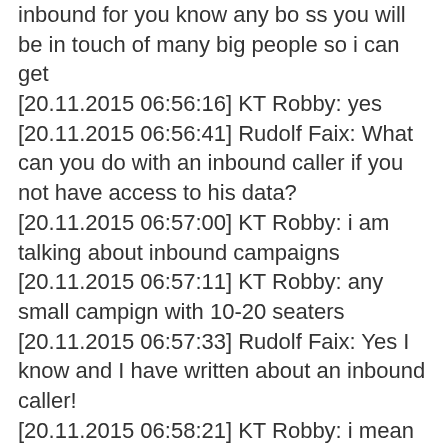inbound for you know any bo ss you will be in touch of many big people so i can get [20.11.2015 06:56:16] KT Robby: yes [20.11.2015 06:56:41] Rudolf Faix: What can you do with an inbound caller if you not have access to his data? [20.11.2015 06:57:00] KT Robby: i am talking about inbound campaigns [20.11.2015 06:57:11] KT Robby: any small campign with 10-20 seaters [20.11.2015 06:57:33] Rudolf Faix: Yes I know and I have written about an inbound caller! [20.11.2015 06:58:21] KT Robby: i mean there are many inbound call cntre in indai those are working for usa [20.11.2015 06:58:28] Rudolf Faix: The same reason why there are no backoffice campaigns available are no inbound campaigns available [20.11.2015 07:00:16] Rudolf Faix: Not one